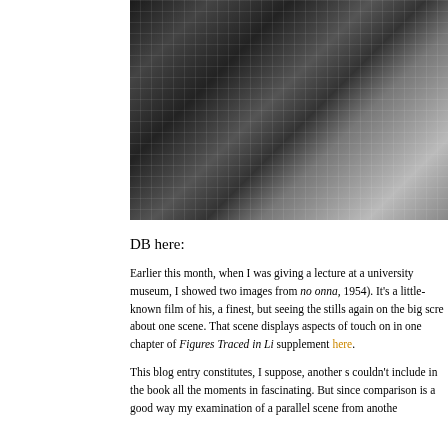[Figure (photo): Black and white photograph showing a partial view of a person near what appears to be a sign with Asian characters, tiled/grid background visible]
DB here:
Earlier this month, when I was giving a lecture at a university museum, I showed two images from no onna, 1954). It's a little-known film of his, a finest, but seeing the stills again on the big screen about one scene. That scene displays aspects of touch on in one chapter of Figures Traced in Li supplement here.
This blog entry constitutes, I suppose, another s couldn't include in the book all the moments in fascinating. But since comparison is a good way my examination of a parallel scene from anothe